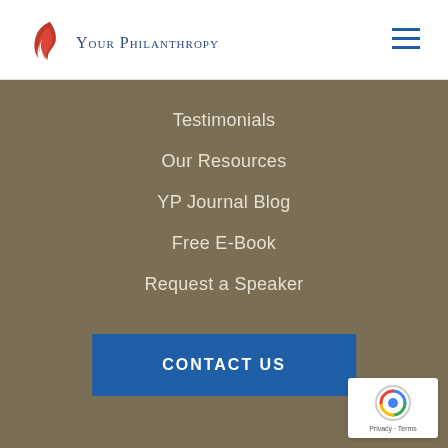[Figure (logo): Your Philanthropy logo with flame icon and small-caps text]
[Figure (other): Hamburger menu icon (three horizontal lines)]
Testimonials
Our Resources
YP Journal Blog
Free E-Book
Request a Speaker
CONTACT US
[Figure (other): reCAPTCHA badge with Privacy - Terms text]